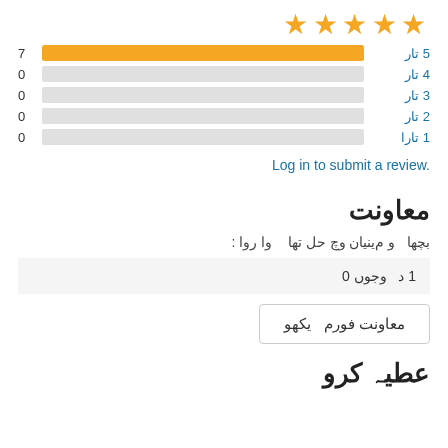[Figure (other): 5 gold star rating icons]
[Figure (bar-chart): Star rating distribution]
Log in to submit a review.
معاونت
بچها  و م‌ینیان وچ حل تھا‌  وا‌ روا‌ :
1 د‌  وجوں 0
معاونت فورم  یکھو
عطیہ کرو